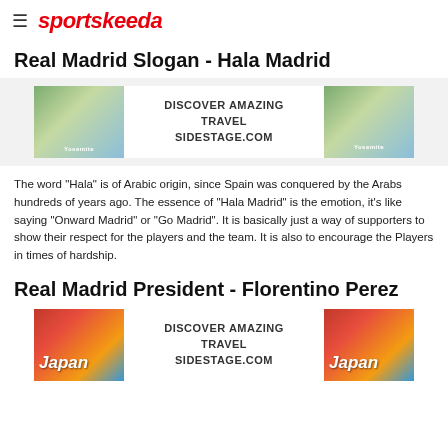sportskeeda
Real Madrid Slogan - Hala Madrid
[Figure (other): Advertisement banner: DISCOVER AMAZING TRAVEL SIDESTAGE.COM with Yosemite travel images on left and right]
The word "Hala" is of Arabic origin, since Spain was conquered by the Arabs hundreds of years ago. The essence of "Hala Madrid" is the emotion, it's like saying "Onward Madrid" or "Go Madrid". It is basically just a way of supporters to show their respect for the players and the team. It is also to encourage the Players in times of hardship.
Real Madrid President - Florentino Perez
[Figure (other): Advertisement banner: DISCOVER AMAZING TRAVEL SIDESTAGE.COM with Japan travel images on left and right]